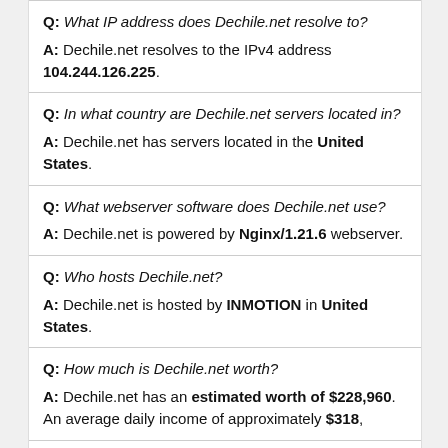Q: What IP address does Dechile.net resolve to?
A: Dechile.net resolves to the IPv4 address 104.244.126.225.
Q: In what country are Dechile.net servers located in?
A: Dechile.net has servers located in the United States.
Q: What webserver software does Dechile.net use?
A: Dechile.net is powered by Nginx/1.21.6 webserver.
Q: Who hosts Dechile.net?
A: Dechile.net is hosted by INMOTION in United States.
Q: How much is Dechile.net worth?
A: Dechile.net has an estimated worth of $228,960. An average daily income of approximately $318,